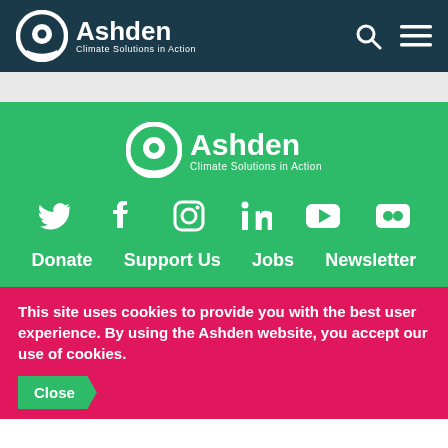[Figure (logo): Ashden Climate Solutions in Action logo with white circle icon on dark teal header bar, with search and hamburger menu icons]
[Figure (logo): Ashden Climate Solutions in Action logo centered on green background]
[Figure (infographic): Social media icons row: Twitter, Facebook, Instagram, LinkedIn, YouTube, Flickr — all white on green background]
Donate
Support Us
Jobs
Newsletter
This site uses cookies to provide you with the best user experience. By using the Ashden website, you accept our use of cookies.
Close